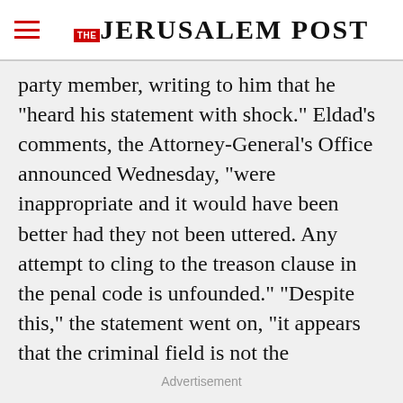THE JERUSALEM POST
party member, writing to him that he "heard his statement with shock." Eldad's comments, the Attorney-General's Office announced Wednesday, "were inappropriate and it would have been better had they not been uttered. Any attempt to cling to the treason clause in the penal code is unfounded." "Despite this," the statement went on, "it appears that the criminal field is not the appropriate channel to confront issues of this type, which are by their very nature a part of the
Advertisement